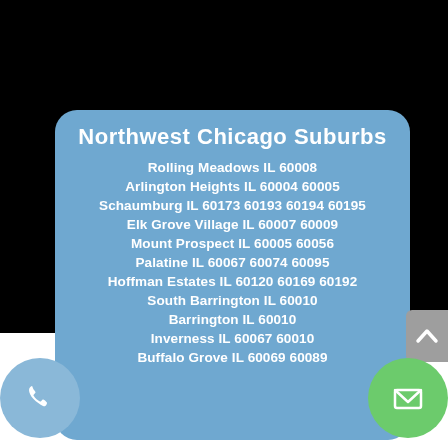Northwest Chicago Suburbs
Rolling Meadows IL 60008
Arlington Heights IL 60004 60005
Schaumburg IL 60173 60193 60194 60195
Elk Grove Village IL 60007 60009
Mount Prospect IL 60005 60056
Palatine IL 60067 60074 60095
Hoffman Estates IL 60120 60169 60192
South Barrington IL 60010
Barrington IL 60010
Inverness IL 60067 60010
Buffalo Grove IL 60069 60089